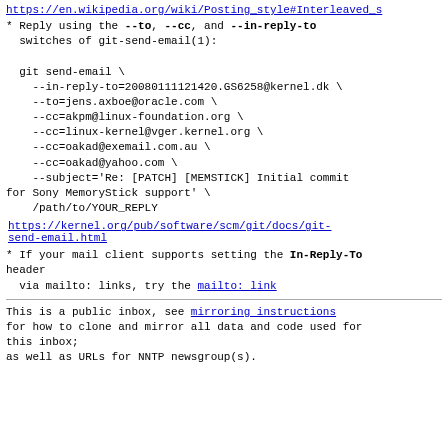https://en.wikipedia.org/wiki/Posting_style#Interleaved_s
* Reply using the --to, --cc, and --in-reply-to switches of git-send-email(1):

  git send-email \
    --in-reply-to=20080111121420.GS6258@kernel.dk \
    --to=jens.axboe@oracle.com \
    --cc=akpm@linux-foundation.org \
    --cc=linux-kernel@vger.kernel.org \
    --cc=oakad@exemail.com.au \
    --cc=oakad@yahoo.com \
    --subject='Re: [PATCH] [MEMSTICK] Initial commit for Sony MemoryStick support' \
    /path/to/YOUR_REPLY
https://kernel.org/pub/software/scm/git/docs/git-send-email.html
* If your mail client supports setting the In-Reply-To header
  via mailto: links, try the mailto: link
This is a public inbox, see mirroring instructions
for how to clone and mirror all data and code used for this inbox;
as well as URLs for NNTP newsgroup(s).